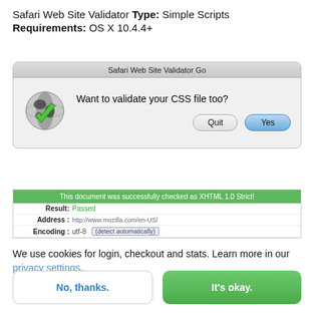Safari Web Site Validator Type: Simple Scripts
Requirements: OS X 10.4.4+
[Figure (screenshot): Mac OS X dialog box titled 'Safari Web Site Validator Go' asking 'Want to validate your CSS file too?' with a globe+checkmark icon and two buttons: Quit and Yes]
[Figure (screenshot): W3C XHTML validator result showing 'This document was successfully checked as XHTML 1.0 Strict!' with Result: Passed, Address: http://www.mozilla.com/en-US/, Encoding: utf-8]
We use cookies for login, checkout and stats. Learn more in our privacy settings.
No, thanks.
It's okay.